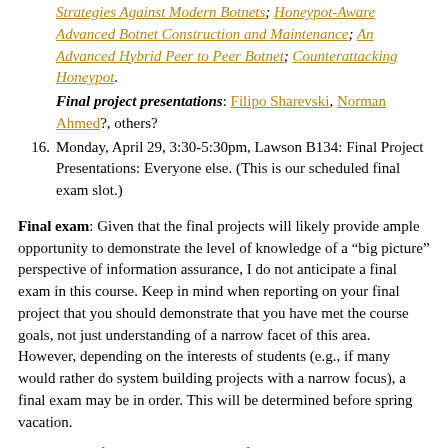Strategies Against Modern Botnets; Honeypot-Aware Advanced Botnet Construction and Maintenance; An Advanced Hybrid Peer to Peer Botnet; Counterattacking Honeypot.
Final project presentations: Filipo Sharevski, Norman Ahmed?, others?
16. Monday, April 29, 3:30-5:30pm, Lawson B134: Final Project Presentations: Everyone else. (This is our scheduled final exam slot.)
Final exam: Given that the final projects will likely provide ample opportunity to demonstrate the level of knowledge of a "big picture" perspective of information assurance, I do not anticipate a final exam in this course. Keep in mind when reporting on your final project that you should demonstrate that you have met the course goals, not just understanding of a narrow facet of this area. However, depending on the interests of students (e.g., if many would rather do system building projects with a narrow focus), a final exam may be in order. This will be determined before spring vacation.
Note that the final exam is scheduled for Monday, April 29 3:30-5:30pm in Lawson B134. We will probably be using this slot for continued final project presentations. If you have another exam that day, let me know so we can make sure your final project